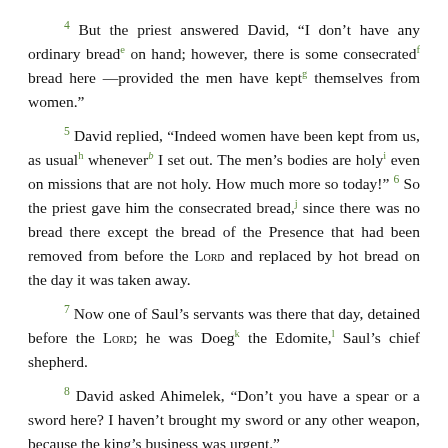4 But the priest answered David, “I don’t have any ordinary breadᵉ on hand; however, there is some consecratedᶠ bread here—provided the men have keptᶣ themselves from women.”
5 David replied, “Indeed women have been kept from us, as usualʰ wheneverᵇ I set out. The men’s bodies are holyⁱ even on missions that are not holy. How much more so today!” 6 So the priest gave him the consecrated bread,ʲ since there was no bread there except the bread of the Presence that had been removed from before the LORD and replaced by hot bread on the day it was taken away.
7 Now one of Saul’s servants was there that day, detained before the LORD; he was Doegᵏ the Edomite,ˡ Saul’s chief shepherd.
8 David asked Ahimelek, “Don’t you have a spear or a sword here? I haven’t brought my sword or any other weapon, because the king’s business was urgent.”